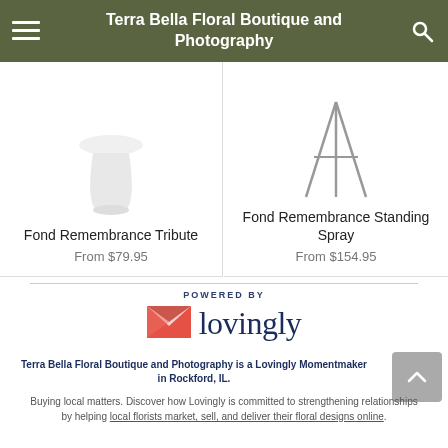Terra Bella Floral Boutique and Photography
Fond Remembrance Tribute
From $79.95
Fond Remembrance Standing Spray
From $154.95
POWERED BY
[Figure (logo): Lovingly logo with pink heart/envelope icon and dark blue 'lovingly' wordmark]
Terra Bella Floral Boutique and Photography is a Lovingly Momentmaker in Rockford, IL.
Buying local matters. Discover how Lovingly is committed to strengthening relationships by helping local florists market, sell, and deliver their floral designs online.